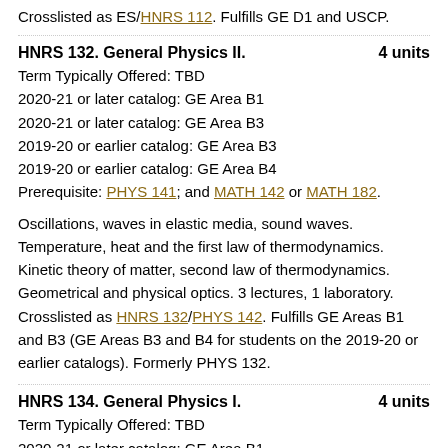Crosslisted as ES/HNRS 112. Fulfills GE D1 and USCP.
HNRS 132. General Physics II.    4 units
Term Typically Offered: TBD
2020-21 or later catalog: GE Area B1
2020-21 or later catalog: GE Area B3
2019-20 or earlier catalog: GE Area B3
2019-20 or earlier catalog: GE Area B4
Prerequisite: PHYS 141; and MATH 142 or MATH 182.
Oscillations, waves in elastic media, sound waves. Temperature, heat and the first law of thermodynamics. Kinetic theory of matter, second law of thermodynamics. Geometrical and physical optics. 3 lectures, 1 laboratory. Crosslisted as HNRS 132/PHYS 142. Fulfills GE Areas B1 and B3 (GE Areas B3 and B4 for students on the 2019-20 or earlier catalogs). Formerly PHYS 132.
HNRS 134. General Physics I.    4 units
Term Typically Offered: TBD
2020-21 or later catalog: GE Area B1